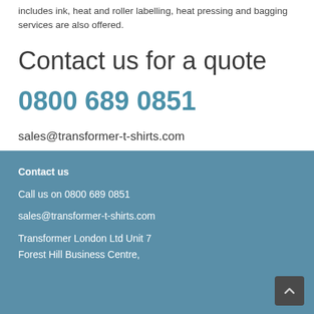includes ink, heat and roller labelling, heat pressing and bagging services are also offered.
Contact us for a quote
0800 689 0851
sales@transformer-t-shirts.com
Contact us
Call us on 0800 689 0851
sales@transformer-t-shirts.com
Transformer London Ltd Unit 7 Forest Hill Business Centre,